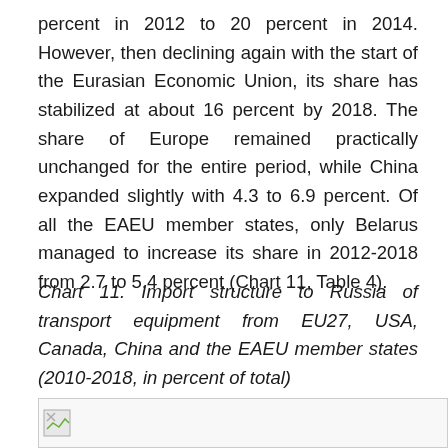percent in 2012 to 20 percent in 2014. However, then declining again with the start of the Eurasian Economic Union, its share has stabilized at about 16 percent by 2018. The share of Europe remained practically unchanged for the entire period, while China expanded slightly with 4.3 to 6.9 percent. Of all the EAEU member states, only Belarus managed to increase its share in 2012-2018 from 2.7 to 5.4 percent (Chart 11, Table 4).
Chart 11. Import structure to Russia of transport equipment from EU27, USA, Canada, China and the EAEU member states (2010-2018, in percent of total)
[Figure (other): Broken/loading image placeholder for Chart 11]